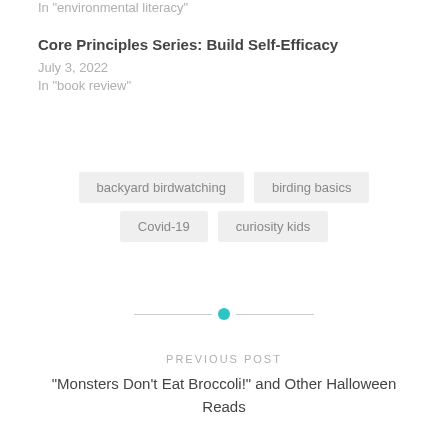In "environmental literacy"
Core Principles Series: Build Self-Efficacy
July 3, 2022
In "book review"
backyard birdwatching
birding basics
Covid-19
curiosity kids
PREVIOUS POST
“Monsters Don’t Eat Broccoli!” and Other Halloween Reads